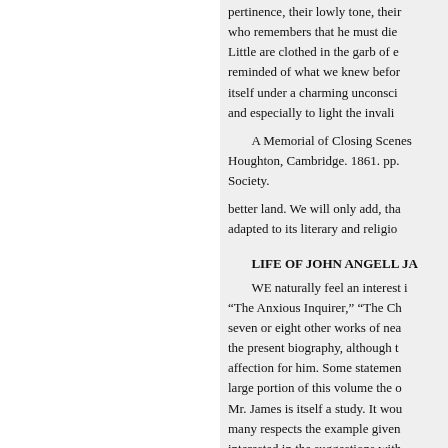pertinence, their lowly tone, their who remembers that he must die Little are clothed in the garb of e reminded of what we knew befor itself under a charming unconsci and especially to light the invali
A Memorial of Closing Scenes Houghton, Cambridge. 1861. pp. Society.
better land. We will only add, tha adapted to its literary and religio
LIFE OF JOHN ANGELL JA
WE naturally feel an interest i “The Anxious Inquirer,” “The Ch seven or eight other works of nea the present biography, although t affection for him. Some statemen large portion of this volume the o Mr. James is itself a study. It wou many respects the example given interested in the suggestions with